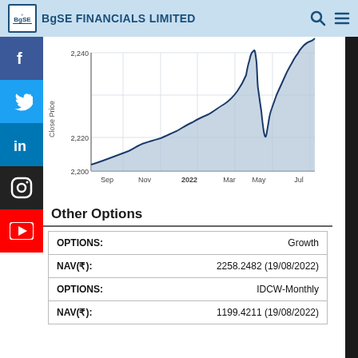BgSE FINANCIALS LIMITED
[Figure (area-chart): Area chart showing Close Price from Sep 2021 to Aug 2022, y-axis from 2,200 to 2,260+]
Other Options
| OPTIONS: | Growth |
| NAV(₹): | 2258.2482 (19/08/2022) |
| OPTIONS: | IDCW-Monthly |
| NAV(₹): | 1199.4211 (19/08/2022) |